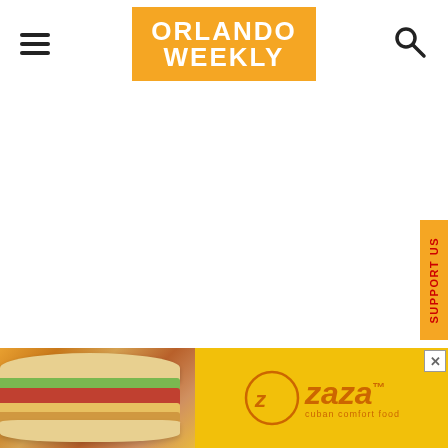[Figure (logo): Orlando Weekly logo - orange rectangle with white bold text reading ORLANDO WEEKLY]
[Figure (infographic): Support Us vertical tab on right edge, orange background with red vertical text]
[Figure (photo): Zaza Cuban Comfort Food advertisement banner at bottom with sandwich image on yellow background]